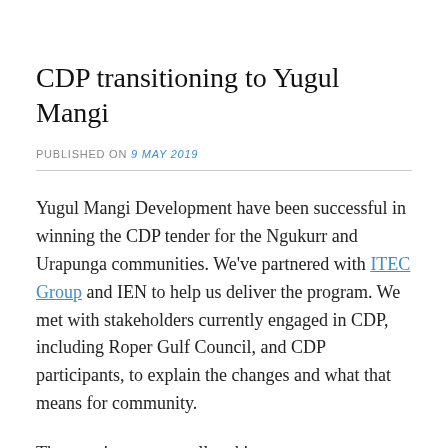CDP transitioning to Yugul Mangi
PUBLISHED ON 9 May 2019
Yugul Mangi Development have been successful in winning the CDP tender for the Ngukurr and Urapunga communities. We've partnered with ITEC Group and IEN to help us deliver the program. We met with stakeholders currently engaged in CDP, including Roper Gulf Council, and CDP participants, to explain the changes and what that means for community.
The meetings went well and it was great to see so many people attend. We look forward to running CDP from